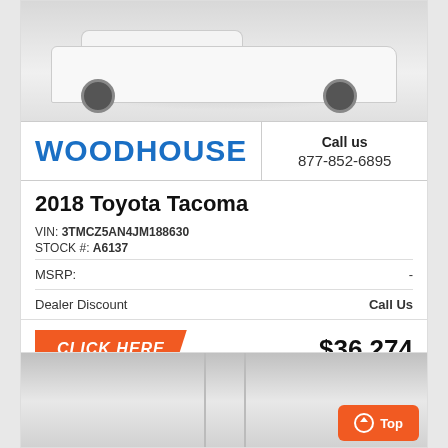[Figure (photo): White 2018 Toyota Tacoma truck front view on white/gray background]
WOODHOUSE
Call us
877-852-6895
2018 Toyota Tacoma
VIN: 3TMCZ5AN4JM188630
STOCK #: A6137
|  |  |
| --- | --- |
| MSRP: | - |
| Dealer Discount | Call Us |
CLICK HERE
$36,274
[Figure (photo): Partial interior/exterior photo of second vehicle listing, cropped at bottom of page]
Top